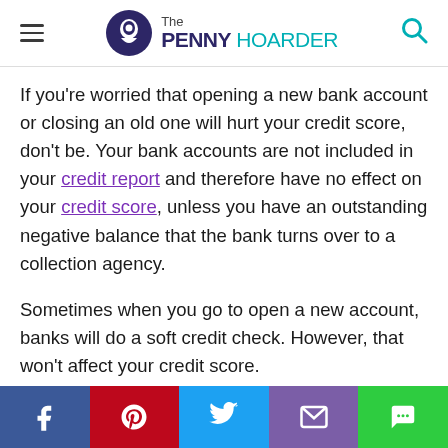The PENNY HOARDER
If you're worried that opening a new bank account or closing an old one will hurt your credit score, don't be. Your bank accounts are not included in your credit report and therefore have no effect on your credit score, unless you have an outstanding negative balance that the bank turns over to a collection agency.
Sometimes when you go to open a new account, banks will do a soft credit check. However, that won't affect your credit score.
Timothy Moore covers bank accounts for The Penny Hoarder from his home base in Cincinnati. He has worked in editing and graphic design for a marketing agency, a global
[Figure (infographic): Social media sharing bar with Facebook, Pinterest, Twitter, Email, and Chat buttons]